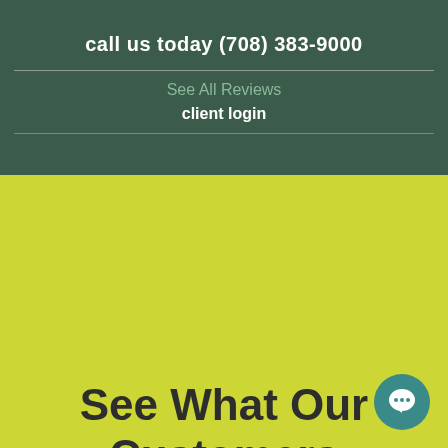call us today (708) 383-9000
See All Reviews
client login
See What Our Customers Have to Say.
[Figure (illustration): Blue circle avatar with initials DN and an info icon below]
[Figure (illustration): Teal chat bubble icon in bottom right corner]